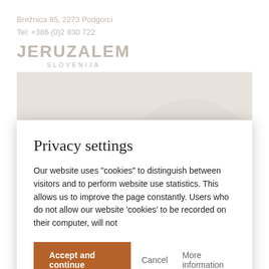Brežnica 85, 2273 Podgorci
Tel: +386 (0)2 830 722
[Figure (logo): JERUZALEM SLOVENIJA logo]
Privacy settings
Our website uses "cookies" to distinguish between visitors and to perform website use statistics. This allows us to improve the page constantly. Users who do not allow our website 'cookies' to be recorded on their computer, will not
Accept and continue   Cancel   More information
Vinogradništvo družina Kos
Pavlovci vil.25, 2250 Venjorci